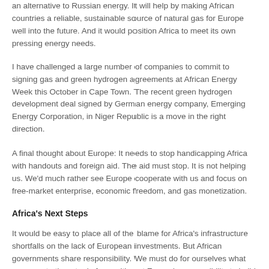an alternative to Russian energy. It will help by making African countries a reliable, sustainable source of natural gas for Europe well into the future. And it would position Africa to meet its own pressing energy needs.
I have challenged a large number of companies to commit to signing gas and green hydrogen agreements at African Energy Week this October in Cape Town. The recent green hydrogen development deal signed by German energy company, Emerging Energy Corporation, in Niger Republic is a move in the right direction.
A final thought about Europe: It needs to stop handicapping Africa with handouts and foreign aid. The aid must stop. It is not helping us. We'd much rather see Europe cooperate with us and focus on free-market enterprise, economic freedom, and gas monetization.
Africa's Next Steps
It would be easy to place all of the blame for Africa's infrastructure shortfalls on the lack of European investments. But African governments share responsibility. We must do for ourselves what we expect others to do for us. It's not Europe's responsibility to build